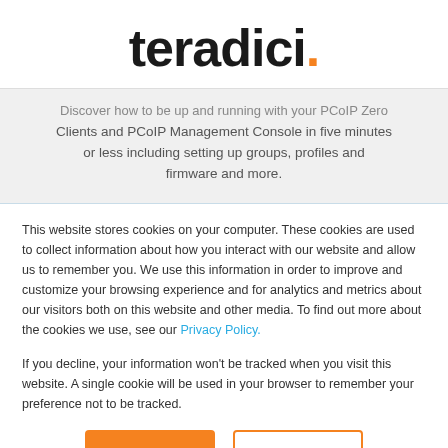[Figure (logo): Teradici logo in bold dark text with orange registered trademark dot]
Discover how to be up and running with your PCoIP Zero Clients and PCoIP Management Console in five minutes or less including setting up groups, profiles and firmware and more.
This website stores cookies on your computer. These cookies are used to collect information about how you interact with our website and allow us to remember you. We use this information in order to improve and customize your browsing experience and for analytics and metrics about our visitors both on this website and other media. To find out more about the cookies we use, see our Privacy Policy.
If you decline, your information won't be tracked when you visit this website. A single cookie will be used in your browser to remember your preference not to be tracked.
Accept
Decline